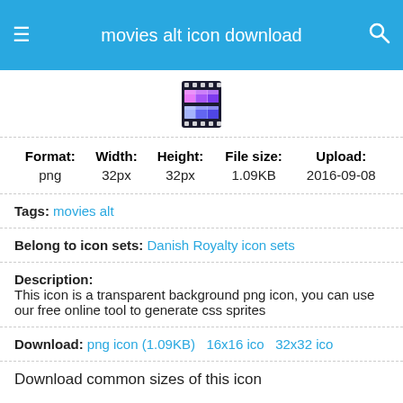movies alt icon download
[Figure (illustration): Movies alt icon - a film strip thumbnail with colorful frames]
| Format: | Width: | Height: | File size: | Upload: |
| --- | --- | --- | --- | --- |
| png | 32px | 32px | 1.09KB | 2016-09-08 |
Tags: movies alt
Belong to icon sets: Danish Royalty icon sets
Description:
This icon is a transparent background png icon, you can use our free online tool to generate css sprites
Download: png icon (1.09KB)   16x16 ico   32x32 ico
Download common sizes of this icon